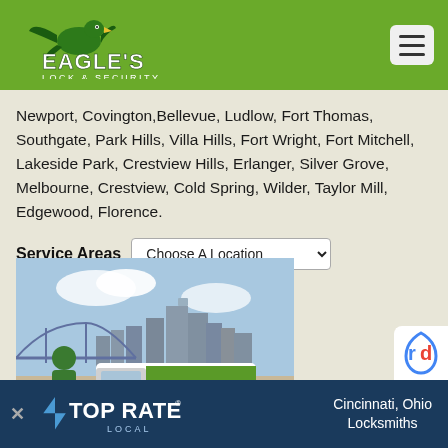[Figure (logo): Eagle's Lock & Security logo with eagle graphic on green header background]
Newport, Covington, Bellevue, Ludlow, Fort Thomas, Southgate, Park Hills, Villa Hills, Fort Wright, Fort Mitchell, Lakeside Park, Crestview Hills, Erlanger, Silver Grove, Melbourne, Crestview, Cold Spring, Wilder, Taylor Mill, Edgewood, Florence.
Service Areas  Choose A Location
[Figure (photo): Eagle's Lock & Security locksmith standing in front of company van with Cincinnati skyline in background]
[Figure (logo): Top Rated Local badge with Cincinnati, Ohio Locksmiths text on dark blue banner]